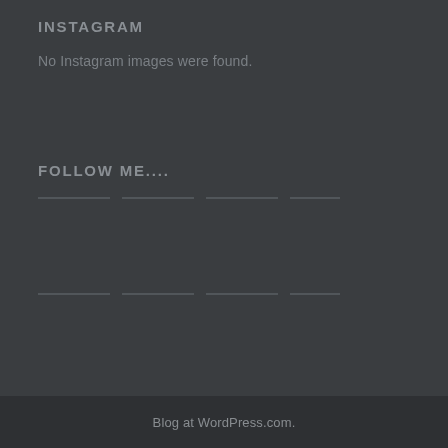INSTAGRAM
No Instagram images were found.
FOLLOW ME....
Blog at WordPress.com.